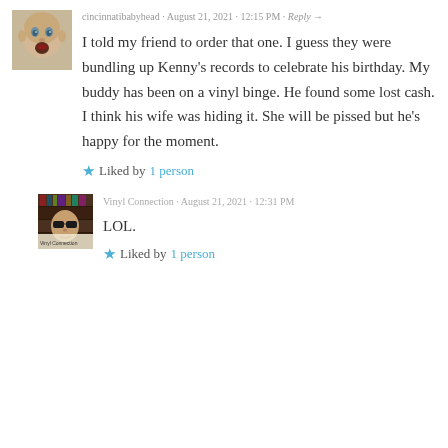[Figure (photo): Avatar photo of a creepy baby doll head with open mouth]
cincinnatibabyhead · August 21, 2021 · 12:15 PM · Reply →
I told my friend to order that one. I guess they were bundling up Kenny's records to celebrate his birthday. My buddy has been on a vinyl binge. He found some lost cash. I think his wife was hiding it. She will be pissed but he's happy for the moment.
★ Liked by 1person
[Figure (photo): Avatar photo of a person wearing sunglasses with vinyl records in background]
Vinyl Connection · August 21, 2021 · 12:31 PM
LOL.
★ Liked by 1person